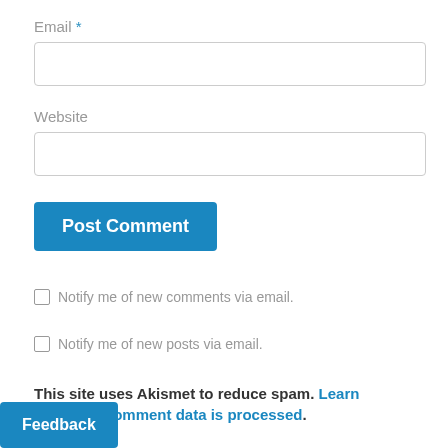Email *
Website
Post Comment
Notify me of new comments via email.
Notify me of new posts via email.
This site uses Akismet to reduce spam. Learn how your comment data is processed.
Feedback